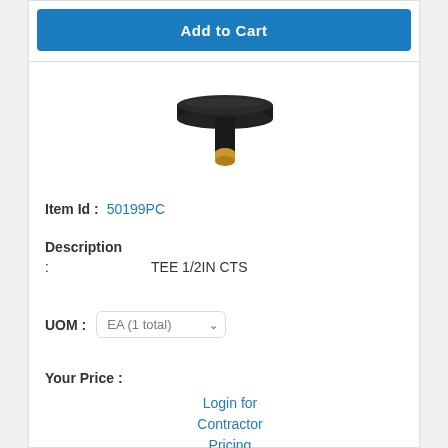Add to Cart
[Figure (photo): Black T-shaped tee fitting, 1/2 inch CTS plumbing connector with brass insert, viewed from above]
Item Id : 50199PC
Description
: TEE 1/2IN CTS
UOM : EA (1 total)
Your Price :
Login for Contractor Pricing